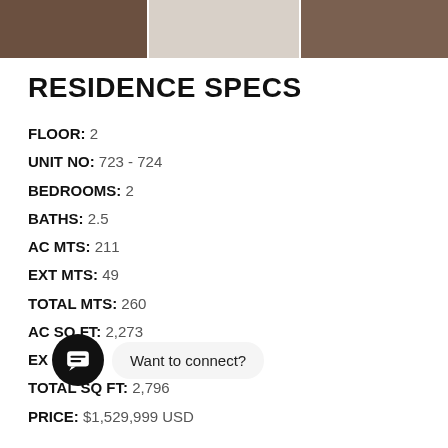[Figure (photo): Strip of three room photos from a residence]
RESIDENCE SPECS
FLOOR: 2
UNIT NO: 723 - 724
BEDROOMS: 2
BATHS: 2.5
AC MTS: 211
EXT MTS: 49
TOTAL MTS: 260
AC SQ FT: 2,273
EXT SQ FT: (partially obscured)
TOTAL SQ FT: 2,796
PRICE: $1,529,999 USD